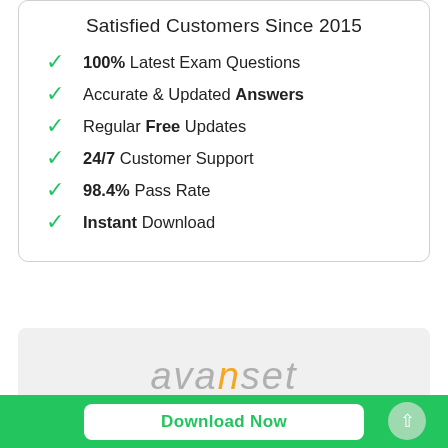Satisfied Customers Since 2015
100% Latest Exam Questions
Accurate & Updated Answers
Regular Free Updates
24/7 Customer Support
98.4% Pass Rate
Instant Download
[Figure (logo): Avanset logo in grey italic text with orange highlighted 'n' letter]
Download Now